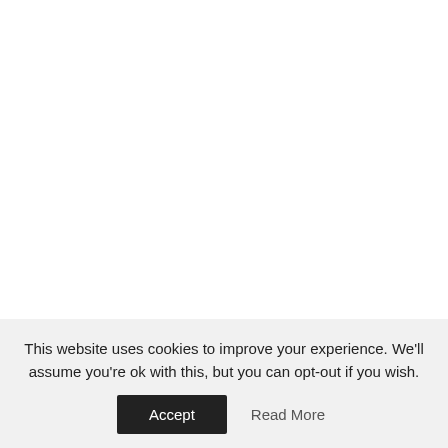« OLDER POSTS
This website uses cookies to improve your experience. We'll assume you're ok with this, but you can opt-out if you wish.
Accept
Read More